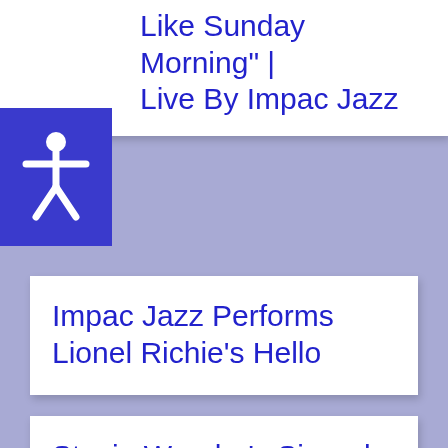Like Sunday Morning" | Live By Impac Jazz
Impac Jazz Performs Lionel Richie's Hello
Stevie Wonder's Signed, Sealed, Delivered, I'm Yours | By Impac Jazz